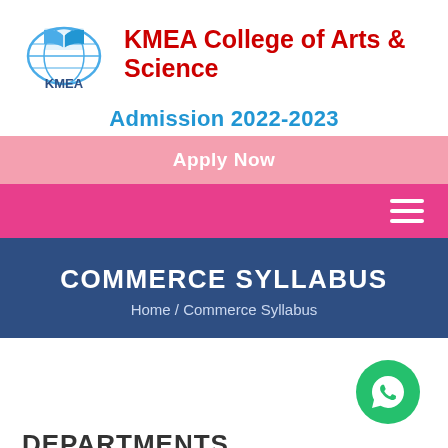[Figure (logo): KMEA college logo with globe and open book, blue color, 'KMEA' text below]
KMEA College of Arts & Science
Admission 2022-2023
Apply Now
[Figure (other): Pink hamburger menu navigation bar with three white horizontal lines on the right]
COMMERCE SYLLABUS
Home / Commerce Syllabus
[Figure (other): Green WhatsApp circular button with phone/chat icon]
DEPARTMENTS